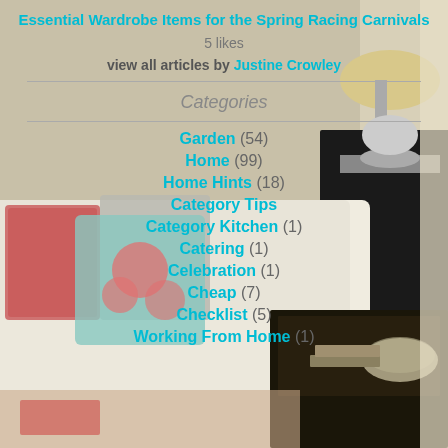[Figure (photo): Living room interior with white sofa, colorful pillows, dark wood coffee table with decorative items, end table with lamp, light walls]
Essential Wardrobe Items for the Spring Racing Carnivals
5 likes
view all articles by Justine Crowley
Categories
Garden (54)
Home (99)
Home Hints (18)
Category Tips
Category Kitchen (1)
Catering (1)
Celebration (1)
Cheap (7)
Checklist (5)
Working From Home (1)